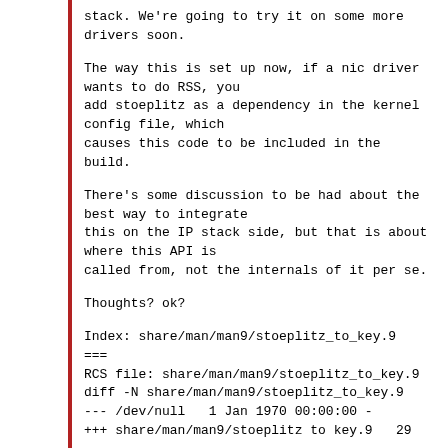stack. We're going to try it on some more
drivers soon.
The way this is set up now, if a nic driver
wants to do RSS, you
add stoeplitz as a dependency in the kernel
config file, which
causes this code to be included in the build.
There's some discussion to be had about the
best way to integrate
this on the IP stack side, but that is about
where this API is
called from, not the internals of it per se.
Thoughts? ok?
Index: share/man/man9/stoeplitz_to_key.9
===
RCS file: share/man/man9/stoeplitz_to_key.9
diff -N share/man/man9/stoeplitz_to_key.9
--- /dev/null   1 Jan 1970 00:00:00 -
+++ share/man/man9/stoeplitz to key.9   29